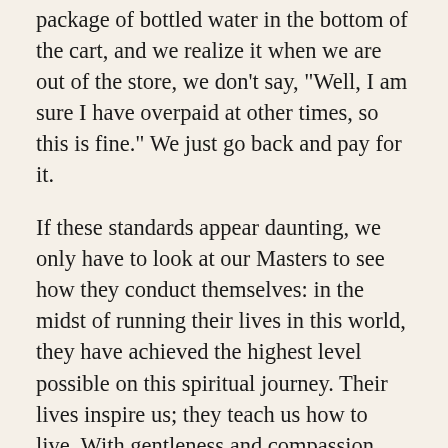package of bottled water in the bottom of the cart, and we realize it when we are out of the store, we don't say, "Well, I am sure I have overpaid at other times, so this is fine." We just go back and pay for it.
If these standards appear daunting, we only have to look at our Masters to see how they conduct themselves: in the midst of running their lives in this world, they have achieved the highest level possible on this spiritual journey. Their lives inspire us; they teach us how to live. With gentleness and compassion, with great patience and a wonderful sense of humour, they tell us again and again to live a balanced life and focus on our meditation.
From meditation comes the strength to fulfil the other vows, which in turn strengthens our ability to sit. It is a gradual process, and with the Master’s grace we are on a “virtuous spiral” heading to our true home. It sounds